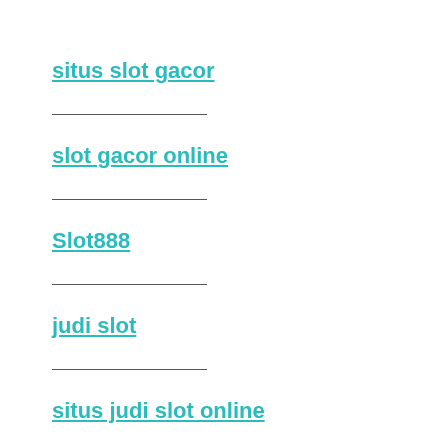situs slot gacor
slot gacor online
Slot888
judi slot
situs judi slot online